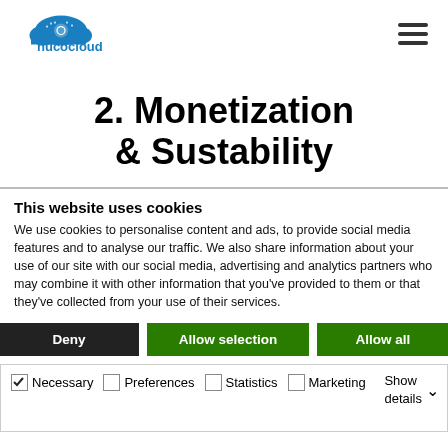nucocloud [logo] [hamburger menu]
2. Monetization & Sustability
This website uses cookies
We use cookies to personalise content and ads, to provide social media features and to analyse our traffic. We also share information about your use of our site with our social media, advertising and analytics partners who may combine it with other information that you've provided to them or that they've collected from your use of their services.
Deny | Allow selection | Allow all
Necessary  Preferences  Statistics  Marketing  Show details